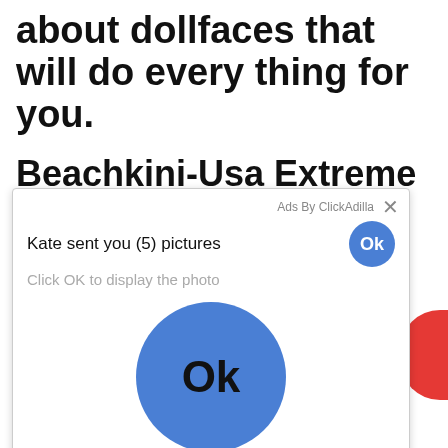about dollfaces that will do every thing for you.
Beachkini-Usa Extreme Tiny Micro Bikini Sexy And Ti...
[Figure (screenshot): Ad popup overlay from ClickAdilla showing 'Kate sent you (5) pictures' notification with 'Click OK to display the photo' subtext and two Ok buttons (one small blue circle top-right, one large blue circle centered). Footer shows a URL and 'a1h' tag. A red partial circle is visible on the right edge.]